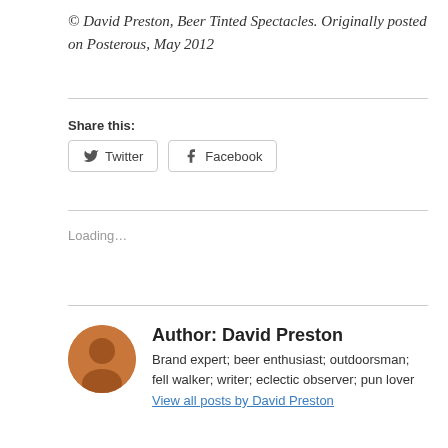© David Preston, Beer Tinted Spectacles. Originally posted on Posterous, May 2012
Share this:
Twitter
Facebook
Loading...
Author: David Preston
Brand expert; beer enthusiast; outdoorsman; fell walker; writer; eclectic observer; pun lover
View all posts by David Preston